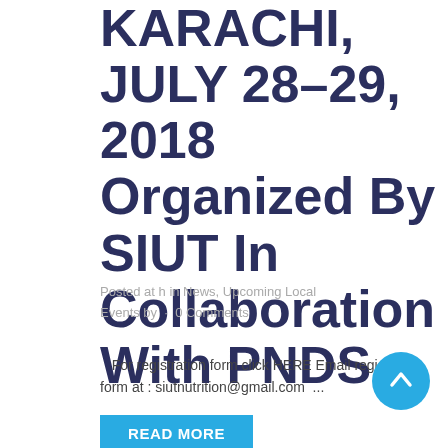KARACHI, JULY 28-29, 2018 Organized By SIUT In Collaboration With PNDS
Posted at h in News, Upcoming Local Events by · 0 Comments
For registration form click HERE Email registration form at : siutnutrition@gmail.com  ...